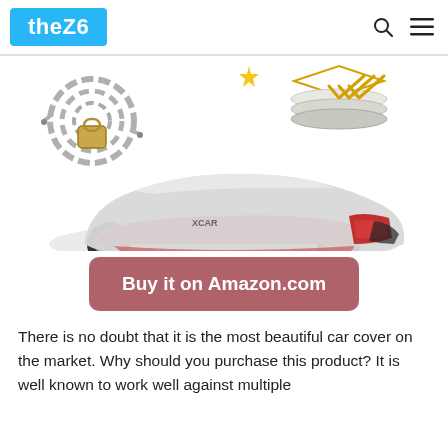theZ6
[Figure (photo): Product photo of a silver car cover draped over a red sports car (Lexus), with a cable lock and layered material graphic shown above the car.]
Buy it on Amazon.com
There is no doubt that it is the most beautiful car cover on the market. Why should you purchase this product? It is well known to work well against multiple